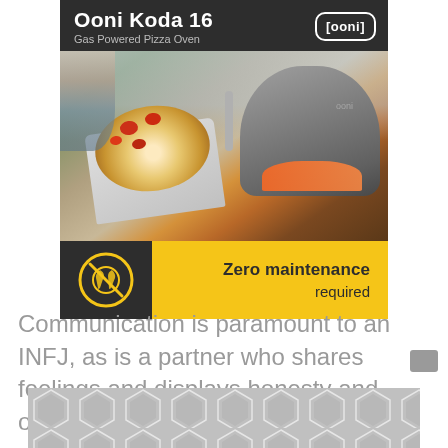[Figure (infographic): Ooni Koda 16 Gas Powered Pizza Oven advertisement. Dark header with product name and Ooni logo. Photo of pizza being placed in oven. Bottom strip with 'no tools' icon on dark background and 'Zero maintenance required' text on yellow background.]
Communication is paramount to an INFJ, as is a partner who shares feelings and displays honesty and openness. INFJs are continually